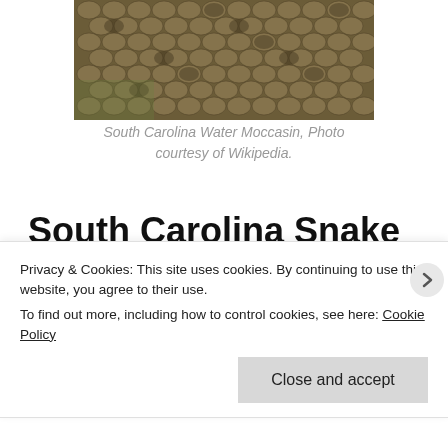[Figure (photo): Close-up photo of a snake's scales, showing detailed texture of Water Moccasin scales]
South Carolina Water Moccasin, Photo courtesy of Wikipedia.
South Carolina Snake Removal by snake control and snake removal professionals in
Privacy & Cookies: This site uses cookies. By continuing to use this website, you agree to their use.
To find out more, including how to control cookies, see here: Cookie Policy
Close and accept